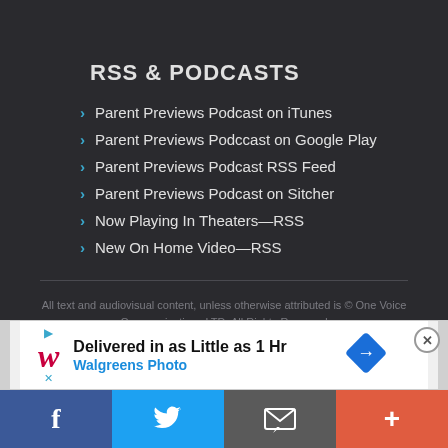RSS & PODCASTS
Parent Previews Podcast on iTunes
Parent Previews Podccast on Google Play
Parent Previews Podcast RSS Feed
Parent Previews Podcast on Sitcher
Now Playing In Theaters—RSS
New On Home Video—RSS
All text and audiovisual content, unless otherwise attributed is © One Voice Communications LTD. All Rights Reserved
Design by ThemeREX © 2013 template. All Rights Reserved.
[Figure (infographic): Walgreens Photo ad banner: Delivered in as Little as 1 Hr Walgreens Photo, with diamond navigation icon and close button]
[Figure (infographic): Social sharing bar with Facebook, Twitter, email, and plus buttons at bottom of page]